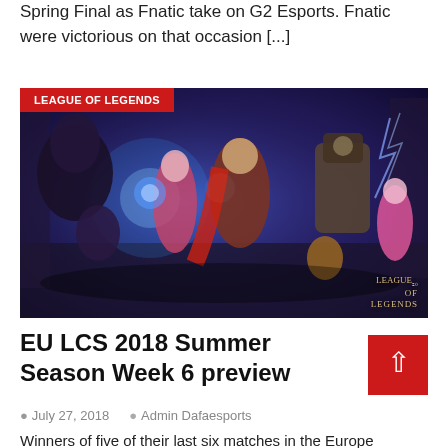Spring Final as Fnatic take on G2 Esports. Fnatic were victorious on that occasion [...]
[Figure (photo): League of Legends promotional artwork showing multiple game champions running/charging, with 'LEAGUE OF LEGENDS' badge in top-left corner and League of Legends logo watermark in bottom-right corner.]
EU LCS 2018 Summer Season Week 6 preview
July 27, 2018  Admin Dafaesports
Winners of five of their last six matches in the Europe League...